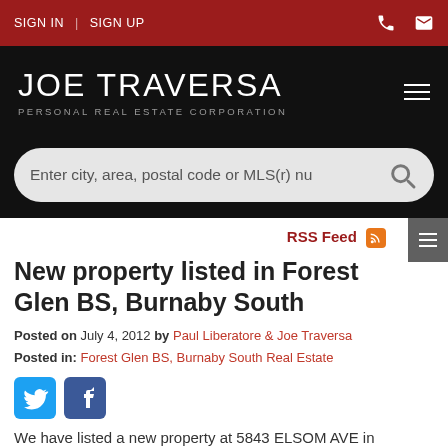SIGN IN | SIGN UP
JOE TRAVERSA
PERSONAL REAL ESTATE CORPORATION
[Figure (other): Search bar with placeholder text: Enter city, area, postal code or MLS(r) nu]
RSS Feed
New property listed in Forest Glen BS, Burnaby South
Posted on July 4, 2012 by Paul Liberatore & Joe Traversa
Posted in: Forest Glen BS, Burnaby South Real Estate
[Figure (other): Twitter and Facebook social share icons]
We have listed a new property at 5843 ELSOM AVE in